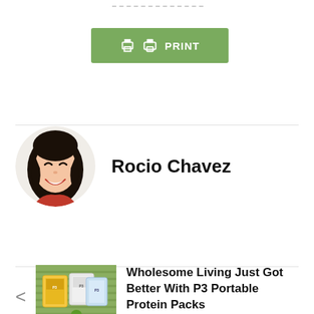[Figure (other): Green print button with printer icon and text PRINT]
[Figure (illustration): Circular avatar illustration of Rocio Chavez - animated woman with dark hair smiling]
Rocio Chavez
[Figure (photo): Thumbnail photo of P3 Portable Protein Packs products on a green mat]
Wholesome Living Just Got Better With P3 Portable Protein Packs